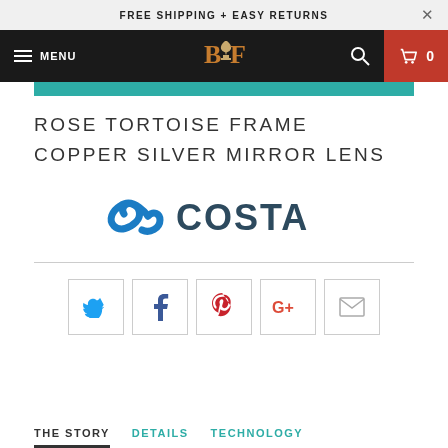FREE SHIPPING + EASY RETURNS
[Figure (logo): Website navigation bar with hamburger menu (MENU), BF logo in center, search icon, and red cart icon with count 0]
[Figure (logo): Costa Del Mar brand logo with blue wave icon and COSTA text in dark blue]
ROSE TORTOISE FRAME
COPPER SILVER MIRROR LENS
[Figure (infographic): Social sharing buttons row: Twitter, Facebook, Pinterest, Google+, Email]
THE STORY	DETAILS	TECHNOLOGY